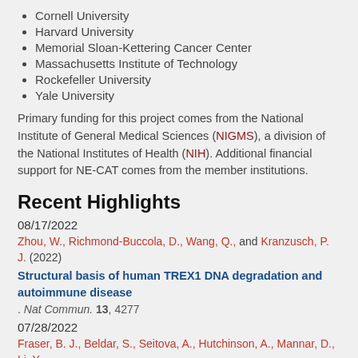Cornell University
Harvard University
Memorial Sloan-Kettering Cancer Center
Massachusetts Institute of Technology
Rockefeller University
Yale University
Primary funding for this project comes from the National Institute of General Medical Sciences (NIGMS), a division of the National Institutes of Health (NIH). Additional financial support for NE-CAT comes from the member institutions.
Recent Highlights
08/17/2022
Zhou, W., Richmond-Buccola, D., Wang, Q., and Kranzusch, P. J. (2022)
Structural basis of human TREX1 DNA degradation and autoimmune disease. Nat Commun. 13, 4277
07/28/2022
Fraser, B. J., Beldar, S., Seitova, A., Hutchinson, A., Mannar, D., Li, Y.